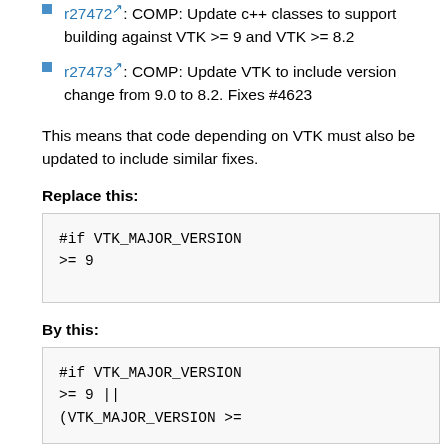r27472: COMP: Update c++ classes to support building against VTK >= 9 and VTK >= 8.2
r27473: COMP: Update VTK to include version change from 9.0 to 8.2. Fixes #4623
This means that code depending on VTK must also be updated to include similar fixes.
Replace this:
#if VTK_MAJOR_VERSION >= 9
By this:
#if VTK_MAJOR_VERSION >= 9 ||
(VTK_MAJOR_VERSION >=